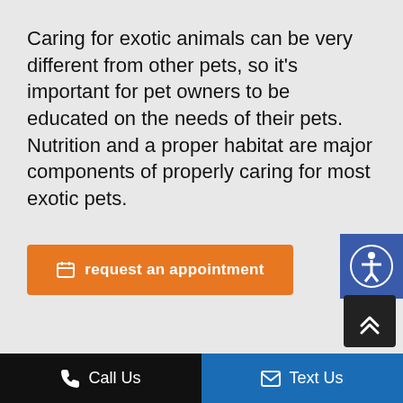Caring for exotic animals can be very different from other pets, so it's important for pet owners to be educated on the needs of their pets. Nutrition and a proper habitat are major components of properly caring for most exotic pets.
[Figure (other): Orange button with calendar icon and bold text 'request an appointment']
[Figure (other): Blue accessibility icon button (wheelchair/person icon) partially visible at right edge]
[Figure (other): Dark scroll-to-top button with double chevron up arrow, bottom right]
Call Us   Text Us